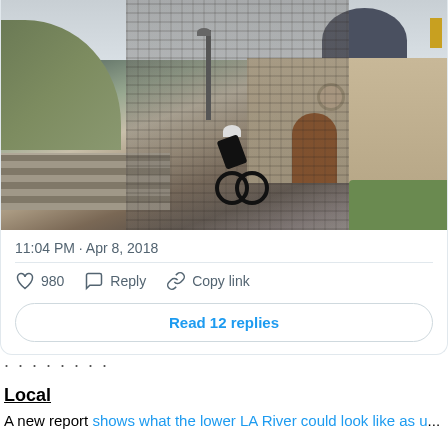[Figure (photo): A cyclist in black riding up a cobblestone road (Muur van Geraardsbergen or similar Belgian cobbled climb) toward a red-brick chapel with a blue dome, stone wall on the left, green hill, overcast sky.]
11:04 PM · Apr 8, 2018
980  Reply  Copy link
Read 12 replies
· · · · · · · ·
Local
A new report shows what the lower LA River could look like as u...